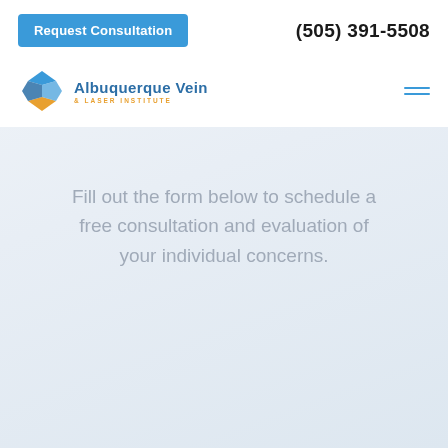Request Consultation | (505) 391-5508
[Figure (logo): Albuquerque Vein & Laser Institute logo with blue and orange diamond/chevron icon and text]
Fill out the form below to schedule a free consultation and evaluation of your individual concerns.